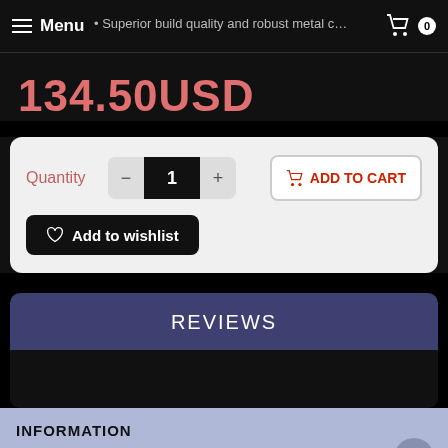Menu  ·  Superior build quality and robust metal casino  ·  0
134.50USD
Quantity  1  ADD TO CART
Add to wishlist
REVIEWS
INFORMATION